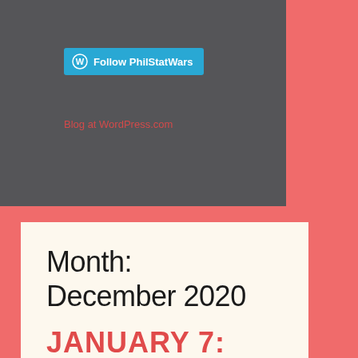[Figure (screenshot): WordPress Follow button with cyan background showing WordPress logo and text 'Follow PhilStatWars']
Blog at WordPress.com
Month: December 2020
JANUARY 7: